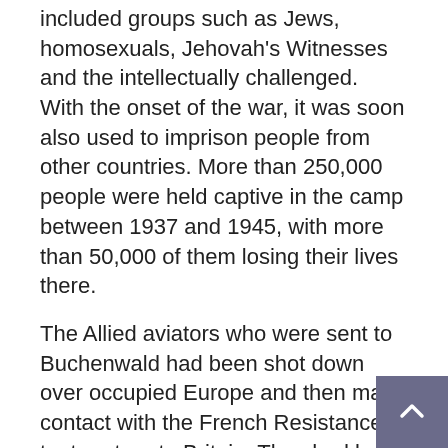included groups such as Jews, homosexuals, Jehovah's Witnesses and the intellectually challenged. With the onset of the war, it was soon also used to imprison people from other countries. More than 250,000 people were held captive in the camp between 1937 and 1945, with more than 50,000 of them losing their lives there.
The Allied aviators who were sent to Buchenwald had been shot down over occupied Europe and then made contact with the French Resistance to try to return to Britain. They had been issued false papers and were dressed as civilians to help avoid arrest by the Germans. Unfortunately they were betrayed and soon rounded up. However, they would be arrested as spies